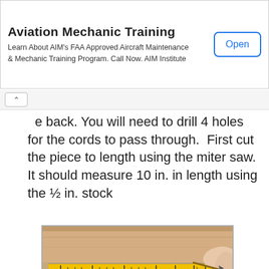[Figure (infographic): Advertisement banner for Aviation Mechanic Training — AIM Institute. Title: 'Aviation Mechanic Training'. Body text: 'Learn About AIM's FAA Approved Aircraft Maintenance & Mechanic Training Program. Call Now. AIM Institute'. Button: 'Open']
e back. You will need to drill 4 holes for the cords to pass through.  First cut the piece to length using the miter saw. It should measure 10 in. in length using the ½ in. stock
[Figure (photo): Photo of a yellow tape measure laid across a wooden board, held by a hand. The tape measure shows markings from 2 to 10 inches.]